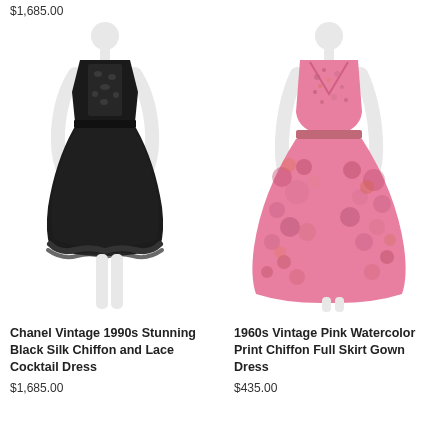$1,685.00
[Figure (photo): White mannequin wearing a Chanel vintage 1990s black silk chiffon and lace cocktail dress, short hemline with lace trim at the bottom, sleeveless with lace bodice detail]
Chanel Vintage 1990s Stunning Black Silk Chiffon and Lace Cocktail Dress
$1,685.00
[Figure (photo): White mannequin wearing a 1960s vintage pink watercolor print chiffon full skirt gown dress, floor-length with v-neckline and pink floral/abstract print]
1960s Vintage Pink Watercolor Print Chiffon Full Skirt Gown Dress
$435.00